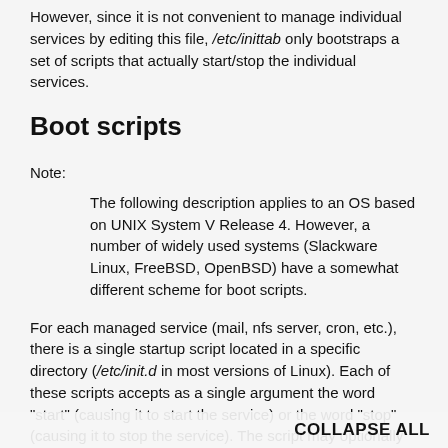However, since it is not convenient to manage individual services by editing this file, /etc/inittab only bootstraps a set of scripts that actually start/stop the individual services.
Boot scripts
Note:
The following description applies to an OS based on UNIX System V Release 4. However, a number of widely used systems (Slackware Linux, FreeBSD, OpenBSD) have a somewhat different scheme for boot scripts.
For each managed service (mail, nfs server, cron, etc.), there is a single startup script located in a specific directory (/etc/init.d in most versions of Linux). Each of these scripts accepts as a single argument the word "start" (causing it to start the service) or the word "stop" (causing it to stop the service). The script may optionally accept other "convenience" parameters (e.g. "restart" to stop and then start, to display the service status, etc.). Running the script without parameters displays the possible arguments.